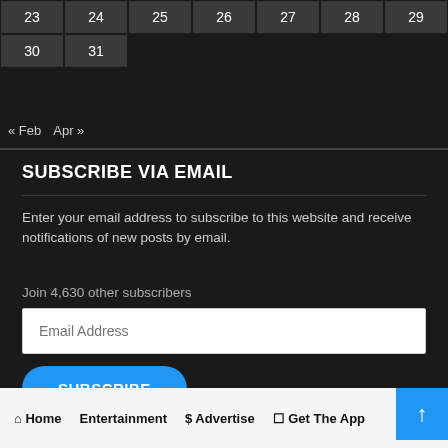| 23 | 24 | 25 | 26 | 27 | 28 | 29 |
| --- | --- | --- | --- | --- | --- | --- |
| 30 | 31 |  |  |  |  |  |
« Feb   Apr »
SUBSCRIBE VIA EMAIL
Enter your email address to subscribe to this website and receive notifications of new posts by email.
Join 4,630 other subscribers
Email Address
SUBSCRIBE
Home   Entertainment   $ Advertise   Get The App